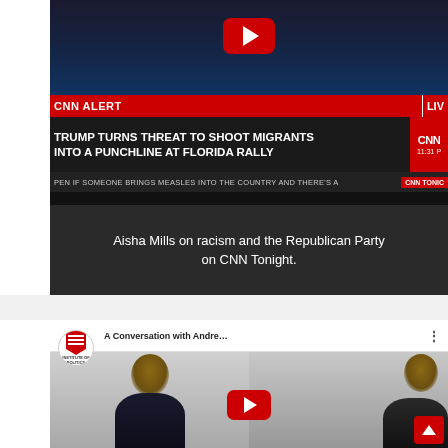[Figure (screenshot): CNN Tonight broadcast screenshot showing anchor with CNN ALERT banner. Headline reads: TRUMP TURNS THREAT TO SHOOT MIGRANTS INTO A PUNCHLINE AT FLORIDA RALLY. Ticker: PEN IF SOMEONE BRINGS MEASLES INTO THE COUNTRY AND THERE'S A | CNN TONIGHT]
Aisha Mills on racism and the Republican Party on CNN Tonight.
[Figure (screenshot): YouTube video thumbnail from Institute of Politics channel. Title: A Conversation with Andre... Shows two people posing for a photo.]